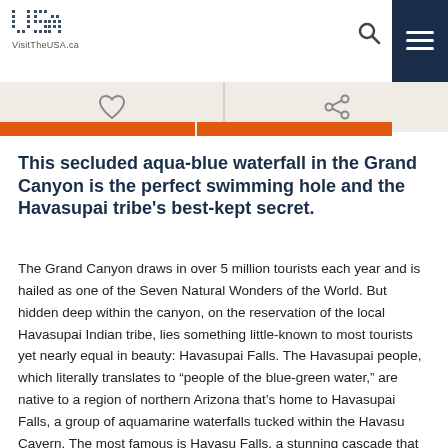VisitTheUSA.ca
This secluded aqua-blue waterfall in the Grand Canyon is the perfect swimming hole and the Havasupai tribe's best-kept secret.
The Grand Canyon draws in over 5 million tourists each year and is hailed as one of the Seven Natural Wonders of the World. But hidden deep within the canyon, on the reservation of the local Havasupai Indian tribe, lies something little-known to most tourists yet nearly equal in beauty: Havasupai Falls. The Havasupai people, which literally translates to “people of the blue-green water,” are native to a region of northern Arizona that’s home to Havasupai Falls, a group of aquamarine waterfalls tucked within the Havasu Cavern. The most famous is Havasu Falls, a stunning cascade that almost looks like it’s flowing with